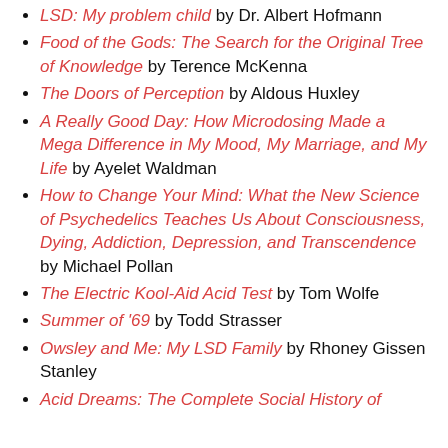LSD: My problem child by Dr. Albert Hofmann
Food of the Gods: The Search for the Original Tree of Knowledge by Terence McKenna
The Doors of Perception by Aldous Huxley
A Really Good Day: How Microdosing Made a Mega Difference in My Mood, My Marriage, and My Life by Ayelet Waldman
How to Change Your Mind: What the New Science of Psychedelics Teaches Us About Consciousness, Dying, Addiction, Depression, and Transcendence by Michael Pollan
The Electric Kool-Aid Acid Test by Tom Wolfe
Summer of '69 by Todd Strasser
Owsley and Me: My LSD Family by Rhoney Gissen Stanley
Acid Dreams: The Complete Social History of...